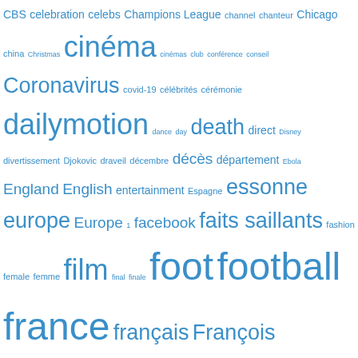[Figure (other): Tag cloud with French and English terms in various font sizes, all in blue, including words like CBS, cinéma, Coronavirus, dailymotion, death, football, france, français, French, highlights, hockey, ile de france, internet, journal, London, Los Angeles, etc.]